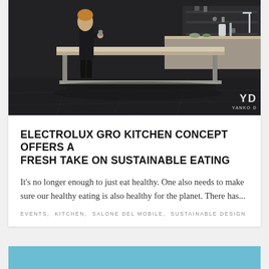[Figure (photo): Dark interior photo of a modern kitchen concept display with a large kitchen island, a person standing nearby, kitchen counter with items in background. YD / YANKO DESIGN watermark in bottom right corner.]
ELECTROLUX GRO KITCHEN CONCEPT OFFERS A FRESH TAKE ON SUSTAINABLE EATING
It's no longer enough to just eat healthy. One also needs to make sure our healthy eating is also healthy for the planet. There has...
EVENTS, KITCHEN, SALONE DEL MOBILE, SUSTAINABLE DESIGN